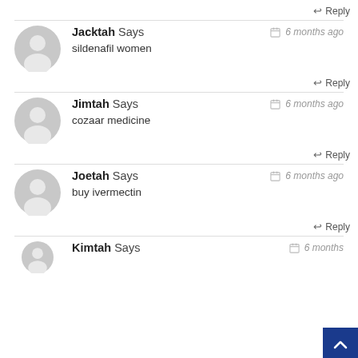↵ Reply (top)
Jacktah Says — 6 months ago
sildenafil women
↵ Reply
Jimtah Says — 6 months ago
cozaar medicine
↵ Reply
Joetah Says — 6 months ago
buy ivermectin
↵ Reply
Kimtah Says — 6 months ago